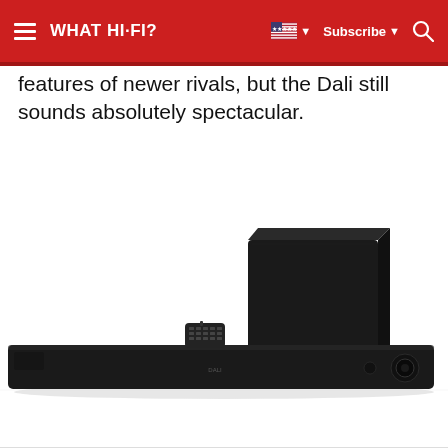WHAT HI-FI?
features of newer rivals, but the Dali still sounds absolutely spectacular.
[Figure (photo): A soundbar system consisting of a long slim black soundbar, a small black remote control resting on the soundbar, and a large black cube subwoofer positioned behind the bar on what appears to be a white surface.]